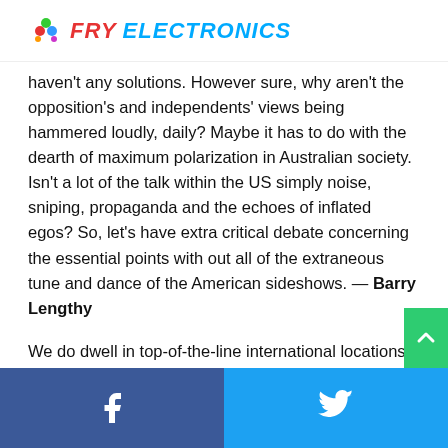FRY ELECTRONICS
haven't any solutions. However sure, why aren't the opposition's and independents' views being hammered loudly, daily? Maybe it has to do with the dearth of maximum polarization in Australian society. Isn't a lot of the talk within the US simply noise, sniping, propaganda and the echoes of inflated egos? So, let's have extra critical debate concerning the essential points with out all of the extraneous tune and dance of the American sideshows. — Barry Lengthy
We do dwell in top-of-the-line international locations on the planet, primarily because of the resilience and efforts of its inhabitants. It's hindered by the prevailing authorities and may be even higher when they're assigned to the dustbin of historical past. We do must act collectively; the responses t
Facebook | Twitter